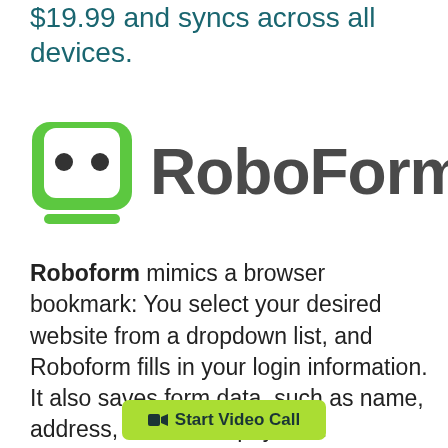$19.99 and syncs across all devices.
[Figure (logo): RoboForm logo: green rounded square icon with robot face (two dot eyes) and green bar beneath, next to bold dark text 'RoboForm']
Roboform mimics a browser bookmark: You select your desired website from a dropdown list, and Roboform fills in your login information. It also saves form data, such as name, address, and online payment information. Like Dashlane, Roboform allows you to choos [Start Video Call button overlay] cloud storage.